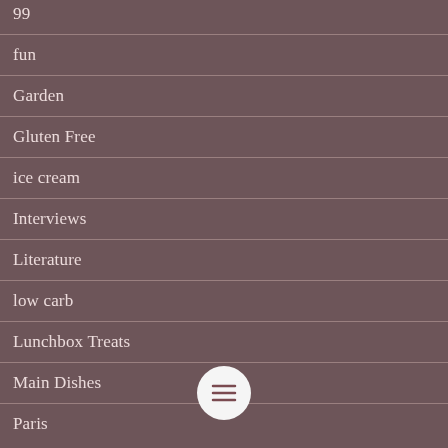99
fun
Garden
Gluten Free
ice cream
Interviews
Literature
low carb
Lunchbox Treats
Main Dishes
Paris